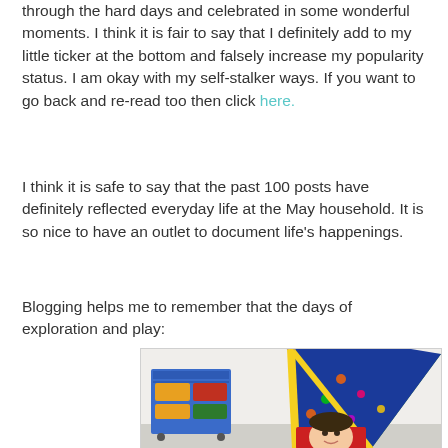through the hard days and celebrated in some wonderful moments. I think it is fair to say that I definitely add to my little ticker at the bottom and falsely increase my popularity status. I am okay with my self-stalker ways. If you want to go back and re-read too then click here.
I think it is safe to say that the past 100 posts have definitely reflected everyday life at the May household. It is so nice to have an outlet to document life's happenings.
Blogging helps me to remember that the days of exploration and play:
[Figure (photo): A child peeking out from inside a colorful teepee/tent with a dinosaur-print blue fabric and yellow and green panels. A blue shelving unit with baskets is visible in the background.]